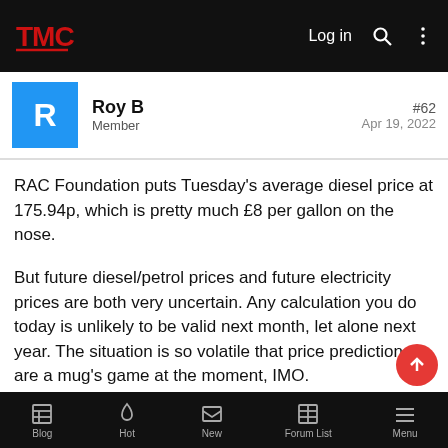TMC forum header — Log in, search, menu
Roy B
Member
#62
Apr 19, 2022
RAC Foundation puts Tuesday's average diesel price at 175.94p, which is pretty much £8 per gallon on the nose.
But future diesel/petrol prices and future electricity prices are both very uncertain. Any calculation you do today is unlikely to be valid next month, let alone next year. The situation is so volatile that price predictions are a mug's game at the moment, IMO.
Not that that helps much. Everything is going up, but which is going to go up most/fastest? And which will stay high for longest?
Blog | Hot | New | Forum List | Menu